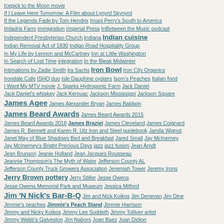Icepick to the Moon movie
If I Leave Here Tomorrow: A Film about Lynyrd Skynyrd
If the Legends Fade by Tom Hendrix  Imani Perry's South to America
Imladris Farm  immigration  Imperial Press  InBetween the Music podcast
Independent Presbyterian Church  Indiana  Indian cuisine
Indian Removal Act of 1830  Indigo Road Hospitality Group
In My Life by Lennon and McCartney  Inn at Little Washington
In Search of Lost Time  integration  In the Bleak Midwinter
Intimations by Zadie Smith  Ira Sachs  Iron Bowl  Iron City Organics
Irondale Cafe  ISHQ duo  Isle Dauphine oysters  Isom's Peaches  Italian food
I Want My MTV movie  J. Sparks Hydroponic Farm  Jack Daniel
Jack Daniel's whiskey  Jack Kerouac  Jackson Mississippi  Jackson Square
James Agee  James Alexander Bryan  James Baldwin
James Beard Awards  James Beard Awards 2015
James Beard Awards 2018  James Braziel  James Cleveland  James Coignard
James R. Bennett and Karen R. Utz Iron and Steel guidebook  Jamila Wignot
Janet May of Blue Shadows Bed and Breakfast  Jared Small  Jay McInerney
Jay McInerney's Bright Precious Days  jazz  jazz fusion  Jean Arndt
Jean Brunson  Jeanie Holland  Jean Jacques Rousseau
Jeannie Thompson's The Myth of Water  Jefferson County AL
Jefferson County Truck Growers Association  Jeremiah Tower  Jeremy Irons
Jerry Brown pottery  Jerry Stiller  Jesse Owens
Jesse Owens Memorial Park and Museum  Jessica Mitford
Jim 'N Nick's Bar-B-Q  Jim and Nick Koikos  Jim Denevan  Jim Dine
Jimmie's peaches  Jimmie's Peach Stand  Jimmie Harrison
Jimmy and Nicky Koikos  Jimmy Lee Suddeth  Jimmy Tolliver artist
Jimmy Webb's Galveston  Jim Nabors  Joan Baez  Joan Didion
JoAnn Clevenger at Upperline  Joan Tewkesbury  Joe Cain
Joe Cain Day  John Archibald  John Besh  John Cheever  John Currence
John Egerton  John Fontenot at Galatoire's  John Gilmore saxophonist
John Hollis Bankhead  John Hollis Bankhead Jr.  John Houston McCarn
John Lennon  Johnny Cash  Johnny Cash and June Carter Cash